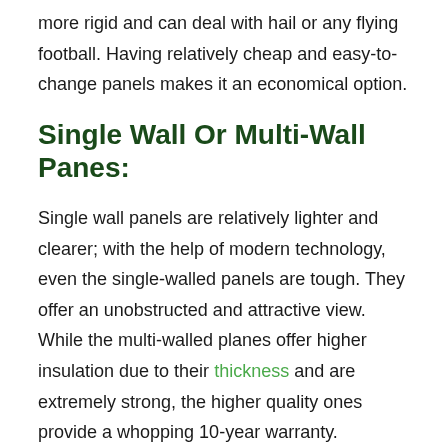more rigid and can deal with hail or any flying football. Having relatively cheap and easy-to-change panels makes it an economical option.
Single Wall Or Multi-Wall Panes:
Single wall panels are relatively lighter and clearer; with the help of modern technology, even the single-walled panels are tough. They offer an unobstructed and attractive view. While the multi-walled planes offer higher insulation due to their thickness and are extremely strong, the higher quality ones provide a whopping 10-year warranty.
Ventilation:
One of the most significant factors in a greenhouse is its